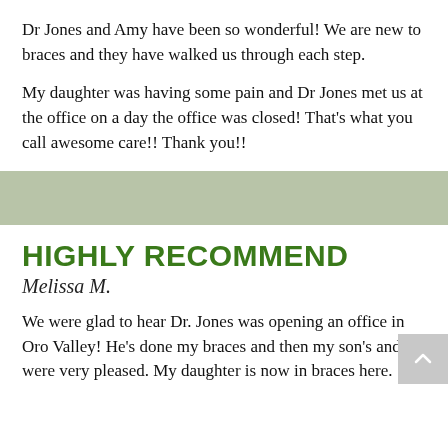Dr Jones and Amy have been so wonderful! We are new to braces and they have walked us through each step.
My daughter was having some pain and Dr Jones met us at the office on a day the office was closed! That's what you call awesome care!! Thank you!!
HIGHLY RECOMMEND
Melissa M.
We were glad to hear Dr. Jones was opening an office in Oro Valley! He's done my braces and then my son's and we were very pleased. My daughter is now in braces here.